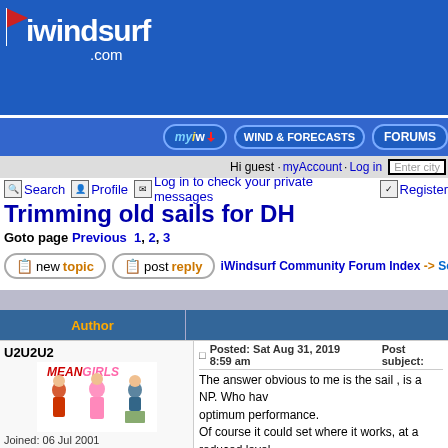iwindsurf.com
myiw | WIND & FORECASTS | FORUMS
Hi guest · myAccount · Log in  Enter city
Search  Profile  Log in to check your private messages  Register
Trimming old sails for DH
Goto page Previous  1, 2, 3
new topic  post reply  iWindsurf Community Forum Index -> Southwest U
| Author |  |
| --- | --- |
| U2U2U2
[Mean Girls avatar image]
Joined: 06 Jul 2001
Posts: 5467
Location: Shipsterns Bluff, Tasmania. Colorado | Posted: Sat Aug 31, 2019 8:59 am   Post subject:
The answer obvious to me is the sail , is a NP. Who hav optimum performance.
Of course it could set where it works, at a reduced level
The NP sails , that I◆ve had Atlas, Combat, have done
If the mast your using is a cc SDM, it will be slightly bett
A. How much performance as in range the sail has
AND
B. How much you are willing to give up.

Extending a 460 by 42cm makes the cc even stiffer, fur
_______________
K4 fins |